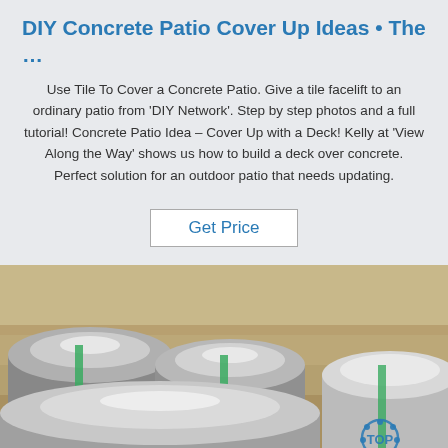DIY Concrete Patio Cover Up Ideas • The …
Use Tile To Cover a Concrete Patio. Give a tile facelift to an ordinary patio from 'DIY Network'. Step by step photos and a full tutorial! Concrete Patio Idea – Cover Up with a Deck! Kelly at 'View Along the Way' shows us how to build a deck over concrete. Perfect solution for an outdoor patio that needs updating.
Get Price
[Figure (photo): Large shiny metal/aluminum coils stacked on a warehouse floor, wrapped with green strapping bands. A blue 'TOP' watermark logo is visible in the bottom right corner.]